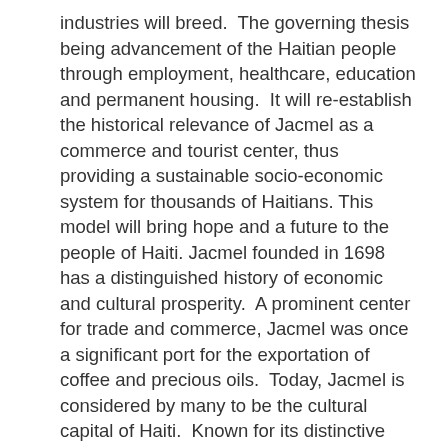industries will breed.  The governing thesis being advancement of the Haitian people through employment, healthcare, education and permanent housing.  It will re-establish the historical relevance of Jacmel as a commerce and tourist center, thus providing a sustainable socio-economic system for thousands of Haitians. This model will bring hope and a future to the people of Haiti. Jacmel founded in 1698 has a distinguished history of economic and cultural prosperity.  A prominent center for trade and commerce, Jacmel was once a significant port for the exportation of coffee and precious oils.  Today, Jacmel is considered by many to be the cultural capital of Haiti.  Known for its distinctive artistic traditions, Jacmel has produced some of Haiti's best-known painters, writers and poets.  With its rich cultural scene, Jacmel is one of the major production centers for indigenous arts and crafts.  Jacmel is a place apart from the rest of the country. Known for its French colonial architecture, the town has maintained a distinctive, Old World charm.  Beautiful beaches and unique hotels draw Haitians and foreigners alike to Jacmel for calm and relaxation.  In fact, Jacmel’s urban and architectural design is credited with having influenced New